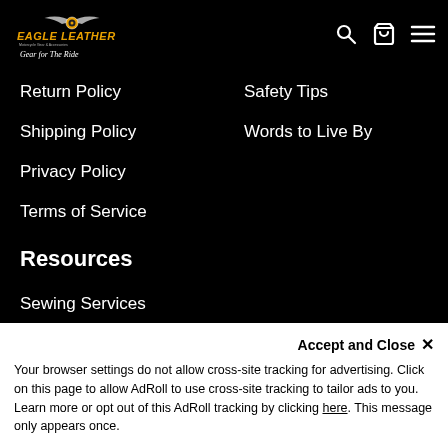Eagle Leather — Motorcycle Gear & Accessories — Gear for The Ride
Return Policy
Safety Tips
Shipping Policy
Words to Live By
Privacy Policy
Terms of Service
Resources
Sewing Services
Blog
Events
Ride Guide
Sizing
My account
Accept and Close ✕
Your browser settings do not allow cross-site tracking for advertising. Click on this page to allow AdRoll to use cross-site tracking to tailor ads to you. Learn more or opt out of this AdRoll tracking by clicking here. This message only appears once.